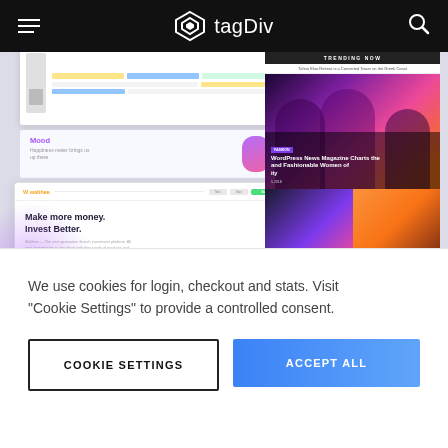tagDiv
[Figure (screenshot): Website screenshots showing a WordPress news/magazine theme (tagDiv) with multiple demo site previews: a UI/UX tool, a Mood app page, a Walthee investment landing page ('Make more money. Invest Better.'), and a news magazine with 'WordPress News Magazine Charts the and Fashionable Women of ity', 'TRENDING NOW', 'Tahna Elua Retreat is a Converted Tower on the Greek Coast', 'Virtual Reality Console', and 'Discover' cards.]
We use cookies for login, checkout and stats. Visit "Cookie Settings" to provide a controlled consent.
COOKIE SETTINGS
ACCEPT ALL